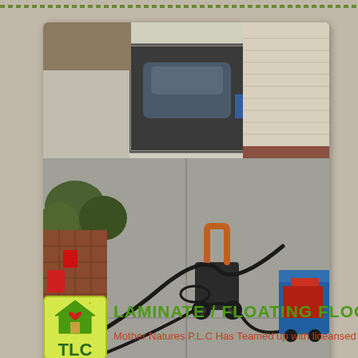[Figure (photo): Outdoor photo of a residential driveway with a pressure washer machine in the center, hoses running across the concrete surface, bushes on the left side, a vehicle parked in an open garage, and a utility trailer on the right. Red gas cans visible on the left.]
[Figure (logo): TLC company logo - yellow/green rounded square with a house icon featuring a red heart, and 'TLC' text below in green]
LAMINATE / FLOATING FLOOR I
Mother Natures P.L.C Has Teamed up with liceansed contract